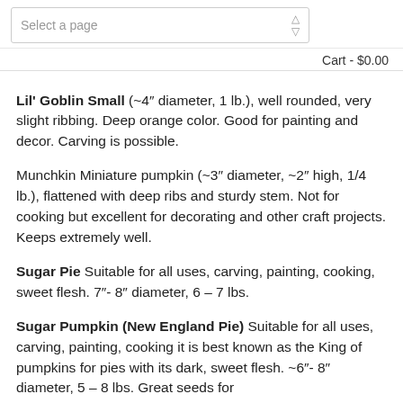Select a page | Cart - $0.00
Lil' Goblin Small (~4" diameter, 1 lb.), well rounded, very slight ribbing. Deep orange color. Good for painting and decor. Carving is possible.
Munchkin Miniature pumpkin (~3" diameter, ~2" high, 1/4 lb.), flattened with deep ribs and sturdy stem. Not for cooking but excellent for decorating and other craft projects. Keeps extremely well.
Sugar Pie Suitable for all uses, carving, painting, cooking, sweet flesh. 7"- 8" diameter, 6 – 7 lbs.
Sugar Pumpkin (New England Pie) Suitable for all uses, carving, painting, cooking it is best known as the King of pumpkins for pies with its dark, sweet flesh. ~6"- 8" diameter, 5 – 8 lbs. Great seeds for